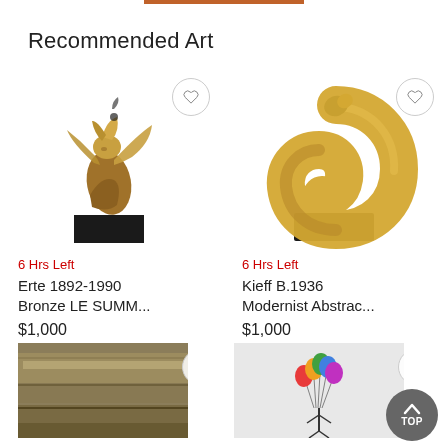Recommended Art
[Figure (photo): Bronze sculpture of a figure (Erte) on dark base]
6 Hrs Left
Erte 1892-1990 Bronze LE SUMM...
$1,000
[Figure (photo): Gold modernist abstract sculpture on dark base (Kieff)]
6 Hrs Left
Kieff B.1936 Modernist Abstrac...
$1,000
[Figure (photo): Bottom left artwork thumbnail]
[Figure (photo): Bottom right artwork thumbnail with balloons figure]